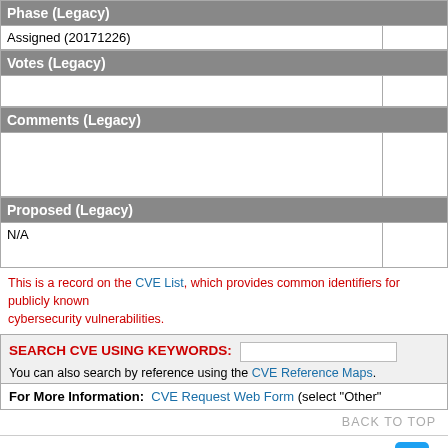| Phase (Legacy) |
| --- |
| Assigned (20171226) |
| Votes (Legacy) |
| --- |
|  |
| Comments (Legacy) |
| --- |
|  |
| Proposed (Legacy) |
| --- |
| N/A |
This is a record on the CVE List, which provides common identifiers for publicly known cybersecurity vulnerabilities.
SEARCH CVE USING KEYWORDS:
You can also search by reference using the CVE Reference Maps.
For More Information: CVE Request Web Form (select "Other"
BACK TO TOP
Site Map | Terms of Use | Privacy Policy | Contact Us | Follow CVE
Use of the CVE® List and the associated references from this website are subject to the terms of use. CVE is sponsored by the U.S. Department of Homeland